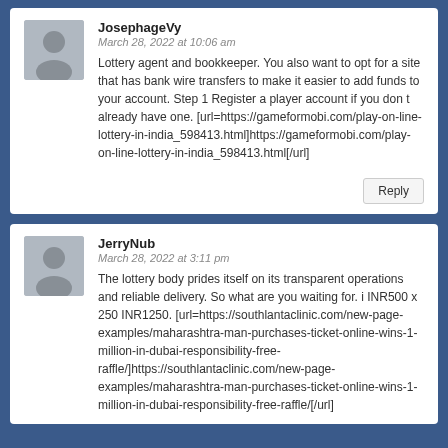JosephageVy
March 28, 2022 at 10:06 am
Lottery agent and bookkeeper. You also want to opt for a site that has bank wire transfers to make it easier to add funds to your account. Step 1 Register a player account if you don t already have one. [url=https://gameformobi.com/play-on-line-lottery-in-india_598413.html]https://gameformobi.com/play-on-line-lottery-in-india_598413.html[/url]
Reply
JerryNub
March 28, 2022 at 3:11 pm
The lottery body prides itself on its transparent operations and reliable delivery. So what are you waiting for. i INR500 x 250 INR1250. [url=https://southlantaclinic.com/new-page-examples/maharashtra-man-purchases-ticket-online-wins-1-million-in-dubai-responsibility-free-raffle/]https://southlantaclinic.com/new-page-examples/maharashtra-man-purchases-ticket-online-wins-1-million-in-dubai-responsibility-free-raffle/[/url]